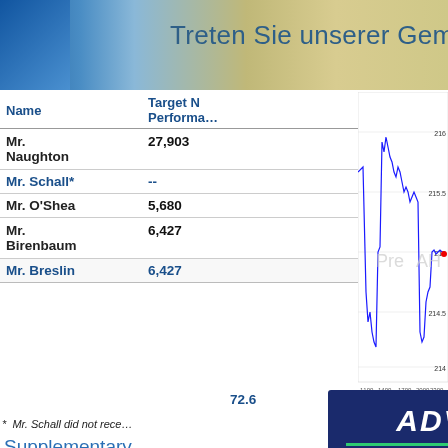[Figure (screenshot): Banner with gradient background (blue to gold) with text 'Treten Sie unserer Gemeinsch…']
| Name | Target N Performance |
| --- | --- |
| Mr. Naughton | 27,903 |
| Mr. Schall* | -- |
| Mr. O'Shea | 5,680 |
| Mr. Birenbaum | 6,427 |
| Mr. Breslin | 6,427 | 72.6 | 4,668 |
[Figure (continuous-plot): Stock price chart showing intraday price movement between approximately 214 and 216, with x-axis labels 1100, 1400, 1700, 2000, 2300 and watermark text 'Pre' and 'AH'. Source: (c) www.advfn.com]
* Mr. Schall did not rece…
Supplementary…
In early 2021, our Co… engagement and consi… planned CEO leaders… Committee also consid… the Company's histor… knowledge, which is n…
[Figure (screenshot): ADVFN branded overlay showing 'Trades (Time & Sales)' with a screenshot of trading data table with columns Num, Exch., Price, Size, Type, C, T, Bid, Offer, Time and rows of trade data]